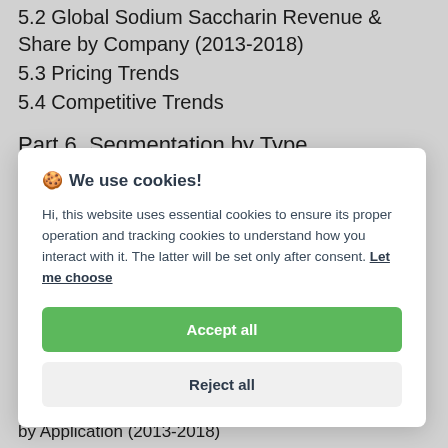5.2 Global Sodium Saccharin Revenue & Share by Company (2013-2018)
5.3 Pricing Trends
5.4 Competitive Trends
Part 6. Segmentation by Type
🍪 We use cookies!

Hi, this website uses essential cookies to ensure its proper operation and tracking cookies to understand how you interact with it. The latter will be set only after consent. Let me choose

[Accept all]
[Reject all]
by Application (2013-2018)